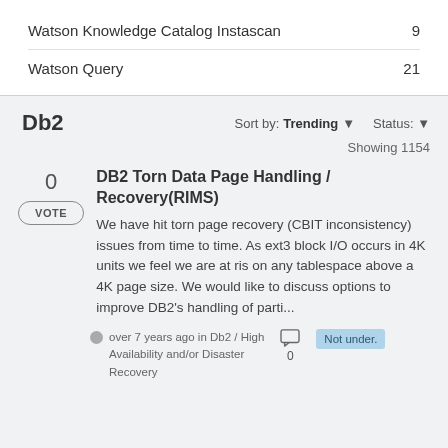Watson Knowledge Catalog Instascan	9
Watson Query	21
Db2
Sort by: Trending ▾   Status: ▾
Showing 1154
0
VOTE
DB2 Torn Data Page Handling / Recovery(RIMS)
We have hit torn page recovery (CBIT inconsistency) issues from time to time. As ext3 block I/O occurs in 4K units we feel we are at risk on any tablespace above a 4K page size. We would like to discuss options to improve DB2's handling of parti...
over 7 years ago in Db2 / High Availability and/or Disaster Recovery
0
Not under.